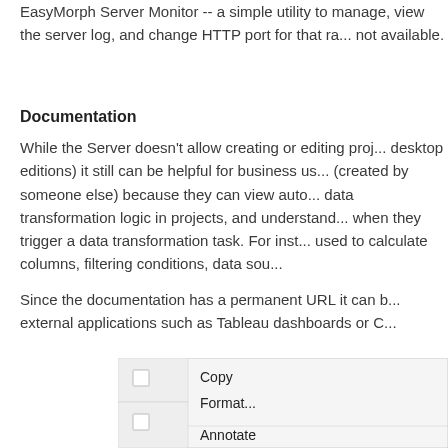EasyMorph Server Monitor -- a simple utility to manage, view the server log, and change HTTP port for that ra... not available.
Documentation
While the Server doesn't allow creating or editing proj... desktop editions) it still can be helpful for business us... (created by someone else) because they can view auto... data transformation logic in projects, and understand... when they trigger a data transformation task. For inst... used to calculate columns, filtering conditions, data sou...
Since the documentation has a permanent URL it can b... external applications such as Tableau dashboards or C...
[Figure (screenshot): A context menu showing options: Copy, Format..., Annotate]